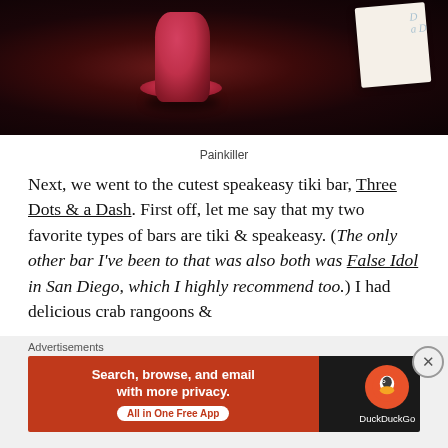[Figure (photo): Photo of a pink/red tiki drink (Painkiller cocktail) on a dark table with a menu card in the background showing 'Three Dots & a Dash' branding]
Painkiller
Next, we went to the cutest speakeasy tiki bar, Three Dots & a Dash. First off, let me say that my two favorite types of bars are tiki & speakeasy. (The only other bar I've been to that was also both was False Idol in San Diego, which I highly recommend too.) I had delicious crab rangoons &
Advertisements
[Figure (screenshot): DuckDuckGo advertisement banner: orange left panel with 'Search, browse, and email with more privacy. All in One Free App' and dark right panel with DuckDuckGo duck logo]